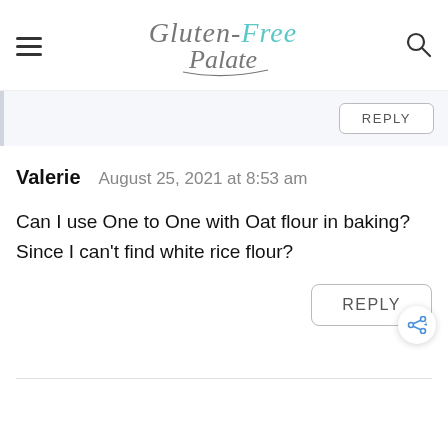Gluten-Free Palate
REPLY
Valerie   August 25, 2021 at 8:53 am
Can I use One to One with Oat flour in baking? Since I can't find white rice flour?
REPLY